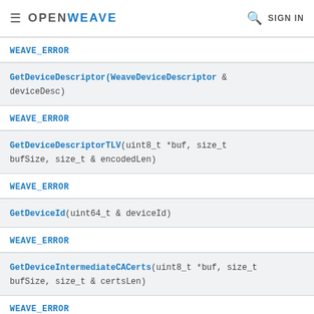≡  OPENWEAVE  🔍 SIGN IN
WEAVE_ERROR
GetDeviceDescriptor(WeaveDeviceDescriptor & deviceDesc)
WEAVE_ERROR
GetDeviceDescriptorTLV(uint8_t *buf, size_t bufSize, size_t & encodedLen)
WEAVE_ERROR
GetDeviceId(uint64_t & deviceId)
WEAVE_ERROR
GetDeviceIntermediateCACerts(uint8_t *buf, size_t bufSize, size_t & certsLen)
WEAVE_ERROR
GetDevicePrivateKey(uint8_t *buf, size_t bufSize,